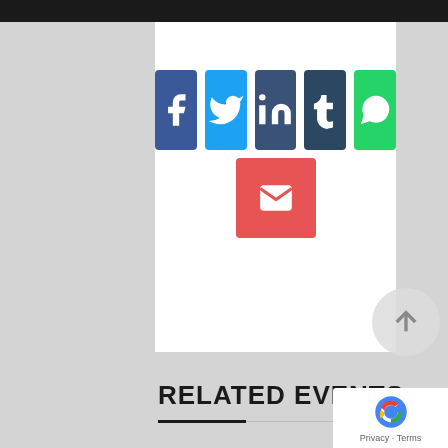[Figure (screenshot): Social media share buttons: Facebook (blue), Twitter (light blue), LinkedIn (dark blue), Tumblr (dark navy), WhatsApp (green), and Email (red) icons arranged in two rows]
RELATED EVENTS
Sorry, the comment form is closed at this time.